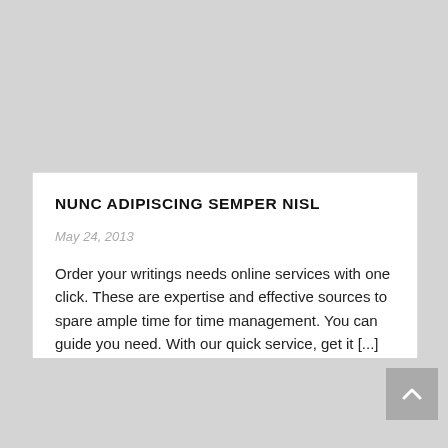NUNC ADIPISCING SEMPER NISL
May 24, 2013
Order your writings needs online services with one click. These are expertise and effective sources to spare ample time for time management. You can guide you need. With our quick service, get it [...]
Read More